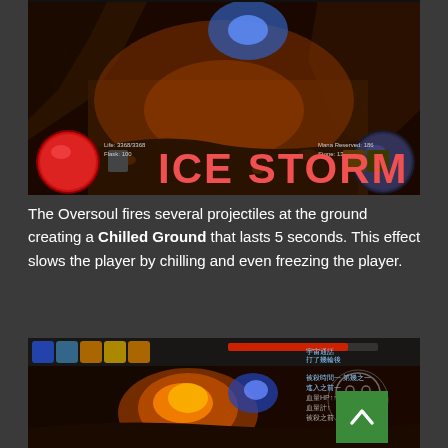[Figure (screenshot): Dark action RPG game screenshot showing a dungeon environment with warm orange/red lighting, player UI elements including a red life orb on the left and a grey orb on the right, with 'ICE STORM' text overlaid in large red/salmon colored letters in the lower center portion of the image.]
The Oversoul fires several projectiles at the ground creating a Chilled Ground that lasts 5 seconds. This effect slows the player by chilling and even freezing the player.
[Figure (screenshot): Dark action RPG game screenshot showing a dungeon environment with orange/fire effects, player HUD at the top with icons, Chinese text labels visible on the left side, and a semi-transparent skull/ghost icon on the right side. A green back-to-top button with an upward arrow appears in the bottom-right corner.]